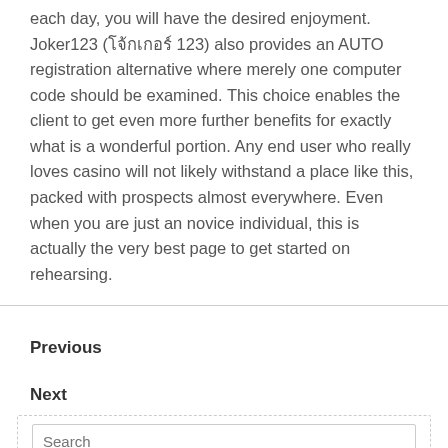answering traits just with some a few minutes each day, you will have the desired enjoyment. Joker123 (โจ๊กเกอร์ 123) also provides an AUTO registration alternative where merely one computer code should be examined. This choice enables the client to get even more further benefits for exactly what is a wonderful portion. Any end user who really loves casino will not likely withstand a place like this, packed with prospects almost everywhere. Even when you are just an novice individual, this is actually the very best page to get started on rehearsing.
Previous
Next
Search